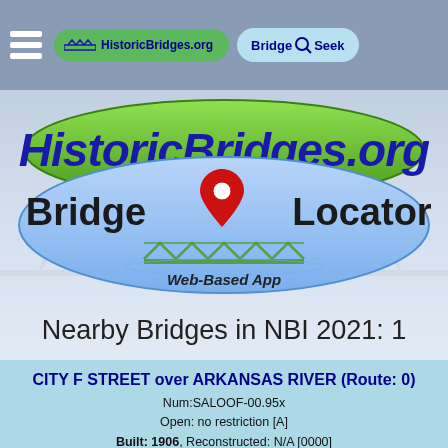HistoricBridges.org | Bridge Seek
[Figure (logo): HistoricBridges.org Bridge Locator Web-Based App logo with green oval on top and blue oval on bottom, red map pin marker, and bridge truss icon]
Nearby Bridges in NBI 2021: 1
CITY F STREET over ARKANSAS RIVER (Route: 0)
Num:SALOOF-00.95x
Open: no restriction [A]
Built: 1906, Reconstructed: N/A [0000]